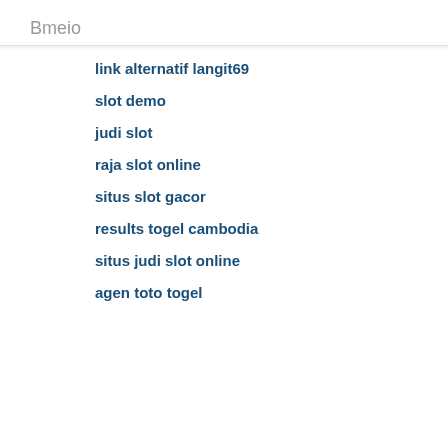Bmeio
link alternatif langit69
slot demo
judi slot
raja slot online
situs slot gacor
results togel cambodia
situs judi slot online
agen toto togel